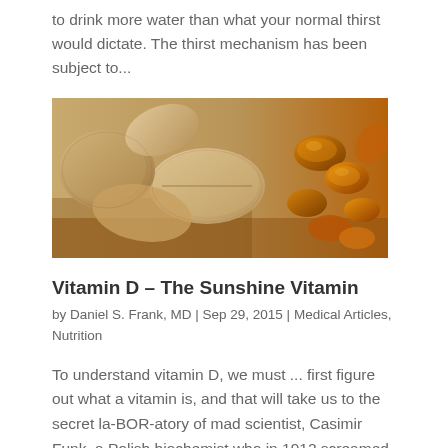to drink more water than what your normal thirst would dictate. The thirst mechanism has been subject to...
[Figure (photo): Close-up photograph of various vitamin supplement tablets and gel capsules — beige/tan tablets on the left and amber-colored gel capsules on the right]
Vitamin D – The Sunshine Vitamin
by Daniel S. Frank, MD | Sep 29, 2015 | Medical Articles, Nutrition
To understand vitamin D, we must ... first figure out what a vitamin is, and that will take us to the secret la-BOR-atory of mad scientist, Casimir Funk, a Polish biochemist who in 1912 screamed, "Igor, I've found it!" when he realized why people who ate brown...